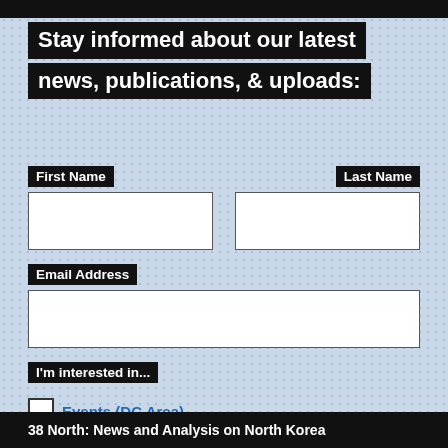Stay informed about our latest news, publications, & uploads:
First Name
Last Name
Email Address
I'm interested in...
Events (DC Area)
38 North: News and Analysis on North Korea